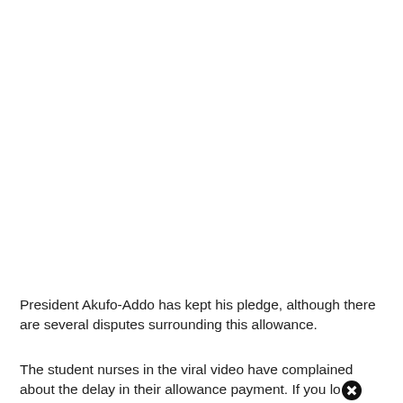President Akufo-Addo has kept his pledge, although there are several disputes surrounding this allowance.
The student nurses in the viral video have complained about the delay in their allowance payment. If you look closely at the film, you can see three gorgeous student nurses in their uniforms brazenly delivering a